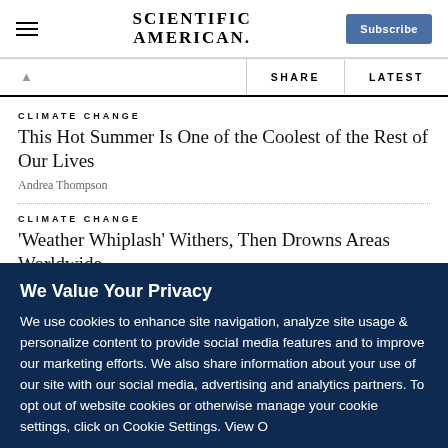SCIENTIFIC AMERICAN
CLIMATE CHANGE
This Hot Summer Is One of the Coolest of the Rest of Our Lives
Andrea Thompson
CLIMATE CHANGE
'Weather Whiplash' Withers, Then Drowns Areas Worldwide
Chelsea Harvey and E&E News
We Value Your Privacy

We use cookies to enhance site navigation, analyze site usage & personalize content to provide social media features and to improve our marketing efforts. We also share information about your use of our site with our social media, advertising and analytics partners. To opt out of website cookies or otherwise manage your cookie settings, click on Cookie Settings. View O